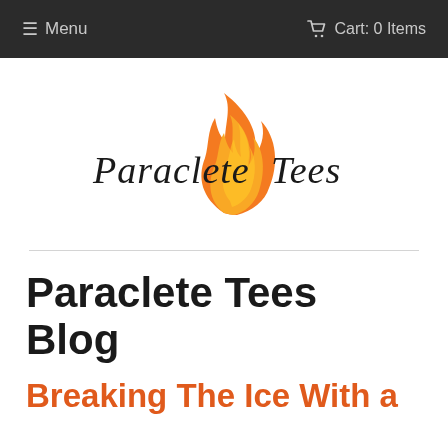≡ Menu    🛒 Cart: 0 Items
[Figure (logo): Paraclete Tees logo: handwritten-style text 'Paraclete' and 'Tees' flanking an orange flame graphic]
Paraclete Tees Blog
Breaking The Ice With a